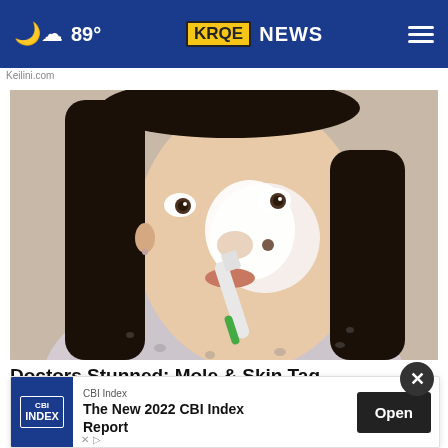89° KRQE NEWS
Keilini.com
[Figure (photo): Woman applying white cream/mask to her nose with a toothbrush, looking upward, wearing a floral shirt]
Doctors Stunned: Mole & Skin Tag Removal as New
Health
[Figure (screenshot): CBI Index advertisement banner: 'The New 2022 CBI Index Report' with Open button]